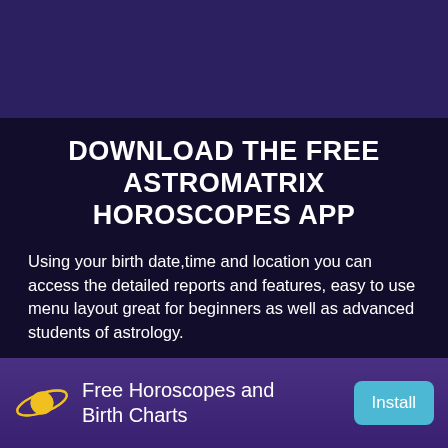[Figure (illustration): Dark purple banner/advertisement background area at top]
DOWNLOAD THE FREE ASTROMATRIX HOROSCOPES APP
Using your birth date,time and location you can access the detailed reports and features, easy to use menu layout great for beginners as well as advanced students of astrology.
[Figure (logo): Apple App Store download button]
[Figure (logo): Google Play download button]
[Figure (logo): Facebook and Instagram social media icons]
[Figure (infographic): Bottom advertisement bar: Astromatrix planet logo, Free Horoscopes and Birth Charts text, Install button]